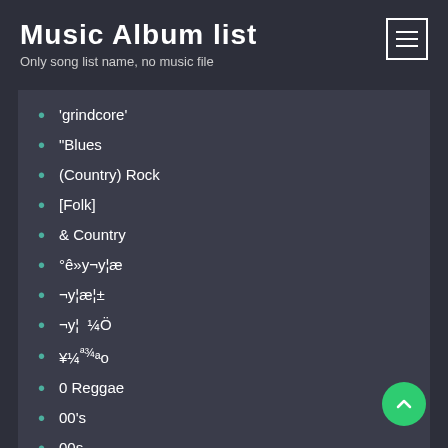Music Album list
Only song list name, no music file
'grindcore'
"Blues
(Country) Rock
[Folk]
& Country
°ê»y¬y¦æ
¬y¦æ¦±
¬y¦  ¼Ö
¥¼ª¾ªo
0 Reggae
00's
00s
01.2-Jazz-influenced World Folk
06 30-01 1303
06 30-01 1601
06-R&B
1 Classic & New...